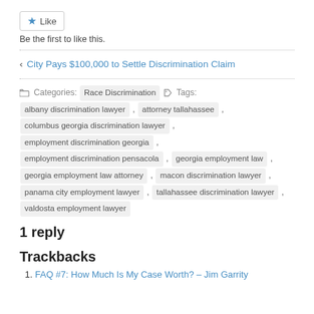Like
Be the first to like this.
‹ City Pays $100,000 to Settle Discrimination Claim
Categories: Race Discrimination  Tags: albany discrimination lawyer , attorney tallahassee , columbus georgia discrimination lawyer , employment discrimination georgia , employment discrimination pensacola , georgia employment law , georgia employment law attorney , macon discrimination lawyer , panama city employment lawyer , tallahassee discrimination lawyer , valdosta employment lawyer
1 reply
Trackbacks
1. FAQ #7: How Much Is My Case Worth? – Jim Garrity